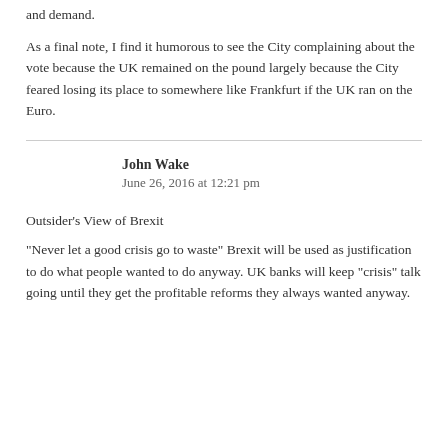and demand.
As a final note, I find it humorous to see the City complaining about the vote because the UK remained on the pound largely because the City feared losing its place to somewhere like Frankfurt if the UK ran on the Euro.
John Wake
June 26, 2016 at 12:21 pm
Outsider's View of Brexit
“Never let a good crisis go to waste” Brexit will be used as justification to do what people wanted to do anyway. UK banks will keep “crisis” talk going until they get the profitable reforms they always wanted anyway.